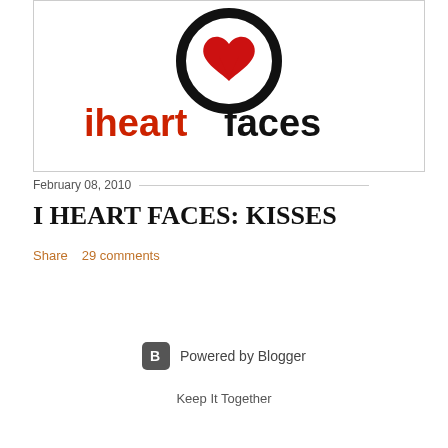[Figure (logo): I Heart Faces logo with a heart inside a circle above the text 'iheartfaces' in black and red]
February 08, 2010
I HEART FACES: KISSES
Share   29 comments
[Figure (logo): Powered by Blogger logo with orange B icon]
Keep It Together